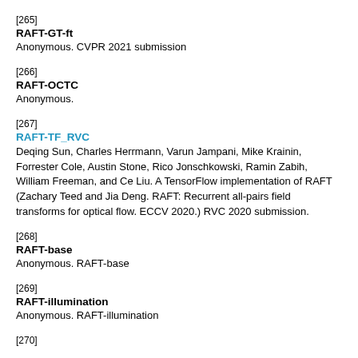[265] RAFT-GT-ft. Anonymous. CVPR 2021 submission
[266] RAFT-OCTC. Anonymous.
[267] RAFT-TF_RVC. Deqing Sun, Charles Herrmann, Varun Jampani, Mike Krainin, Forrester Cole, Austin Stone, Rico Jonschkowski, Ramin Zabih, William Freeman, and Ce Liu. A TensorFlow implementation of RAFT (Zachary Teed and Jia Deng. RAFT: Recurrent all-pairs field transforms for optical flow. ECCV 2020.) RVC 2020 submission.
[268] RAFT-base. Anonymous. RAFT-base
[269] RAFT-illumination. Anonymous. RAFT-illumination
[270]